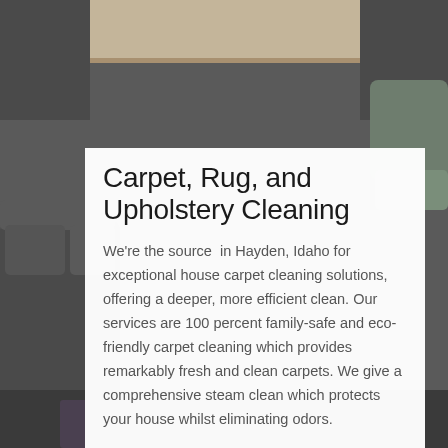[Figure (photo): Background photo of a living room with dark grey sofas, cushions, and a patterned rug. A light wooden shelf is visible at the top.]
Carpet, Rug, and Upholstery Cleaning
We're the source  in Hayden, Idaho for exceptional house carpet cleaning solutions, offering a deeper, more efficient clean. Our services are 100 percent family-safe and eco-friendly carpet cleaning which provides remarkably fresh and clean carpets. We give a comprehensive steam clean which protects your house whilst eliminating odors.
If you're interested in carpet, rug, upholstery, or tile cleaning then our services are the best companion for you. Our Carpet Cleaning Professionals have several years of critical experience to service your house while taking care of all your cleaning chores.